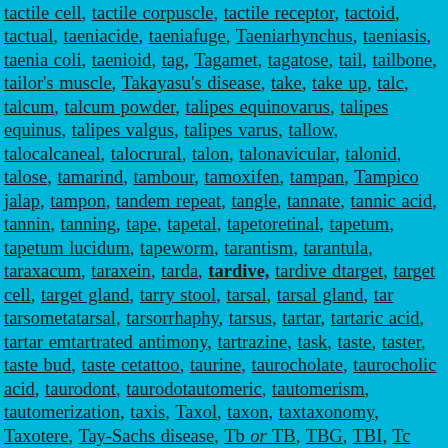tactile cell, tactile corpuscle, tactile receptor, tactoid, tactual, taeniacide, taeniafuge, Taeniarhynchus, taeniasis, taenia coli, taenioid, tag, Tagamet, tagatose, tail, tailbone, tailor's muscle, Takayasu's disease, take, take up, talc, talcum, talcum powder, talipes equinovarus, talipes equinus, talipes valgus, talipes varus, tallow, talocalcaneal, talocrural, talon, talonavicular, talonid, talose, tamarind, tambour, tamoxifen, tampan, Tampico jalap, tampon, tandem repeat, tangle, tannate, tannic acid, tannin, tanning, tape, tapetal, tapetoretinal, tapetum, tapetum lucidum, tapeworm, tarantism, tarantula, taraxacum, taraxein, tarda, tardive, tardive dyskinesia, target, target cell, target gland, tarry stool, tarsal, tarsal gland, tarsometatarsal, tarsorrhaphy, tarsus, tartar, tartaric acid, tartar emetic, tartrated antimony, tartrazine, task, taste, taster, taste bud, taste cell, tattoo, taurine, taurocholate, taurocholic acid, taurodont, tautomeric, tautomerism, tautomerization, taxis, Taxol, taxon, taxonomy, Taxotere, Tay-Sachs disease, Tb or TB, TBG, TBI, TCR, Td or TD, tds, Te, tea or TEA, teaching hospital, tear, tear gland, tease, teasing needle, teaspoon, teaspoonful, teat, tech, technical, technician, technique, technologist, technology, tectal, tectorial membrane, tectospinal, tectum, tectum mesencephali, teel oil, Teflon, tegmen, tegmental, tegmentum, tegmen tympani, Tegopen, tegument, tegumentary, Teichmann's crystal, teichoic acid, tela, telangiectasia, tela choroidea, tela subcutanea, tela submucosa, teledendron, telediagnosis, telegony, telekinesis, telemedicine, telencephalic, telencephalon, teleological, teleology, teleonomy, teletherapy, teleradiology, teleroentgenogram, teleroentgenography, ...